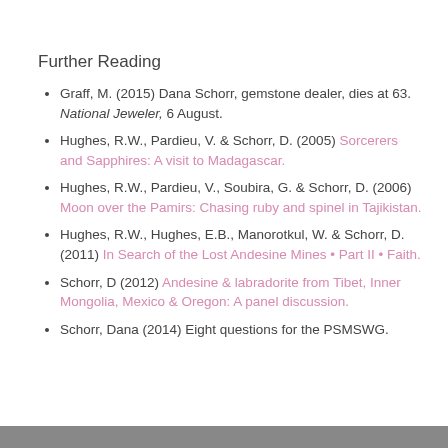Further Reading
Graff, M. (2015) Dana Schorr, gemstone dealer, dies at 63. National Jeweler, 6 August.
Hughes, R.W., Pardieu, V. & Schorr, D. (2005) Sorcerers and Sapphires: A visit to Madagascar.
Hughes, R.W., Pardieu, V., Soubira, G. & Schorr, D. (2006) Moon over the Pamirs: Chasing ruby and spinel in Tajikistan.
Hughes, R.W., Hughes, E.B., Manorotkul, W. & Schorr, D. (2011) In Search of the Lost Andesine Mines • Part II • Faith.
Schorr, D (2012) Andesine & labradorite from Tibet, Inner Mongolia, Mexico & Oregon: A panel discussion.
Schorr, Dana (2014) Eight questions for the PSMSWG.